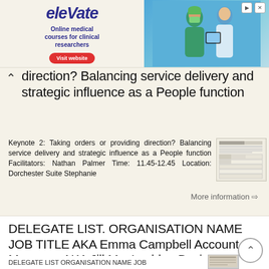[Figure (infographic): Elevate advertisement banner for online medical courses for clinical researchers, with a 'Visit website' button and a photo of medical professionals.]
direction? Balancing service delivery and strategic influence as a People function
Keynote 2: Taking orders or providing direction? Balancing service delivery and strategic influence as a People function Facilitators: Nathan Palmer Time: 11.45-12.45 Location: Dorchester Suite Stephanie
More information →
DELEGATE LIST. ORGANISATION NAME JOB TITLE AKA Emma Campbell Account Manager. AKA Jill MacLachlan Business
DELEGATE LIST ORGANISATION NAME JOB